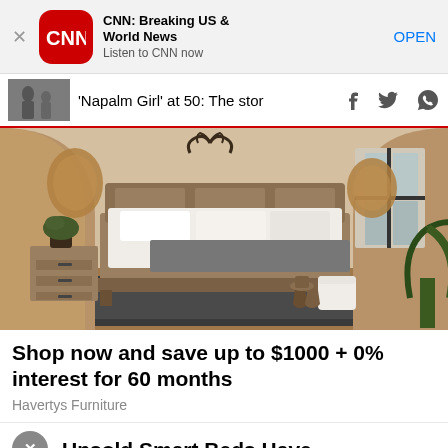[Figure (screenshot): CNN app banner with red CNN logo icon, app name 'CNN: Breaking US & World News', tagline 'Listen to CNN now', and blue OPEN button]
[Figure (screenshot): Article navigation bar showing thumbnail of Napalm Girl photo, article title ''Napalm Girl' at 50: The stor', and social share icons for Facebook, Twitter, WhatsApp]
[Figure (photo): Havertys Furniture bedroom advertisement photo showing a styled bedroom with a wooden bed, white bedding, grey throw blanket, wicker pendant lights, nightstand with plant, and a window]
Shop now and save up to $1000 + 0% interest for 60 months
Havertys Furniture
Unsold Smart Beds Have